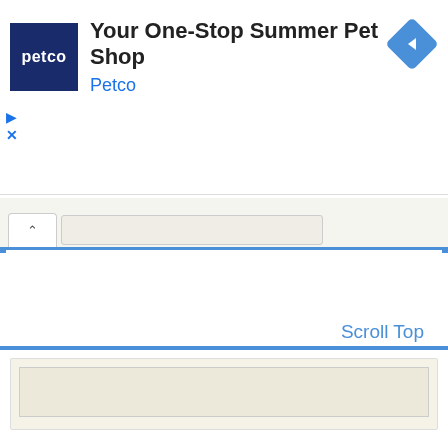[Figure (screenshot): Petco advertisement banner showing Petco logo (dark blue square with white 'petco' text), ad title 'Your One-Stop Summer Pet Shop', brand name 'Petco' in blue, and a blue navigation diamond icon on the right. Below the ad are play and close (X) controls.]
[Figure (screenshot): Browser tab bar showing a tab with an up-caret (^) icon and a wide beige/tan address/input bar, with blue vertical bars on the left and right edges.]
Scroll Top
[Figure (screenshot): Bottom panel with blue top border and nested beige/tan box inside.]